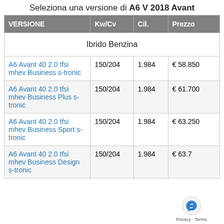Seleziona una versione di A6 V 2018 Avant
| VERSIONE | Kw/Cv | Cil. | Prezzo |
| --- | --- | --- | --- |
| Ibrido Benzina |  |  |  |
| A6 Avant 40 2.0 tfsi mhev Business s-tronic | 150/204 | 1.984 | € 58.850 |
| A6 Avant 40 2.0 tfsi mhev Business Plus s-tronic | 150/204 | 1.984 | € 61.700 |
| A6 Avant 40 2.0 tfsi mhev Business Sport s-tronic | 150/204 | 1.984 | € 63.250 |
| A6 Avant 40 2.0 tfsi mhev Business Design s-tronic | 150/204 | 1.984 | € 63.7… |